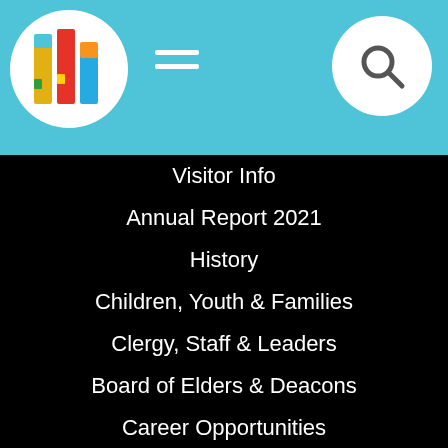[Figure (logo): Church logo: colorful geometric building/cross shape on white circle, in teal header]
Visitor Info
Annual Report 2021
History
Children, Youth & Families
Clergy, Staff & Leaders
Board of Elders & Deacons
Career Opportunities
Life Events
Space Rentals
Weddings
Baptisms
Funerals & Memorials